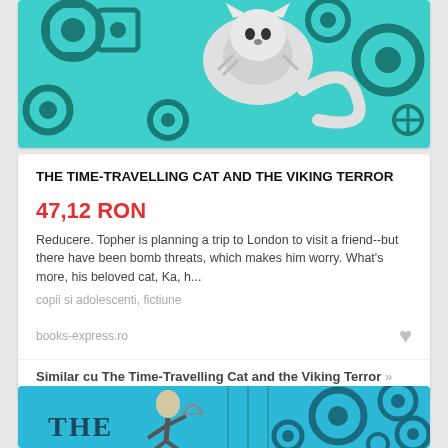[Figure (illustration): Top portion of book cover for The Time-Travelling Cat and the Viking Terror, showing a teal/turquoise background with gears and a white/grey striped cat]
THE TIME-TRAVELLING CAT AND THE VIKING TERROR
47,12 RON
Reducere. Topher is planning a trip to London to visit a friend--but there have been bomb threats, which makes him worry. What's more, his beloved cat, Ka, h...
copii si adolescenti, fictiune
books-express.ro
Similar cu The Time-Travelling Cat and the Viking Terror »
[Figure (illustration): Bottom portion showing another book cover with a blue background, gears, and a character running with a weapon, with partial text THE visible]